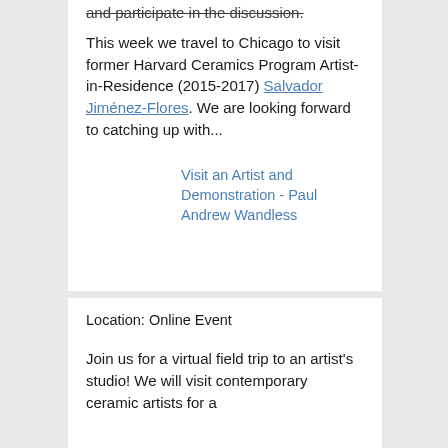and participate in the discussion.
This week we travel to Chicago to visit former Harvard Ceramics Program Artist-in-Residence (2015-2017) Salvador Jiménez-Flores. We are looking forward to catching up with...
Visit an Artist and Demonstration - Paul Andrew Wandless
Location: Online Event
Join us for a virtual field trip to an artist's studio! We will visit contemporary ceramic artists for a